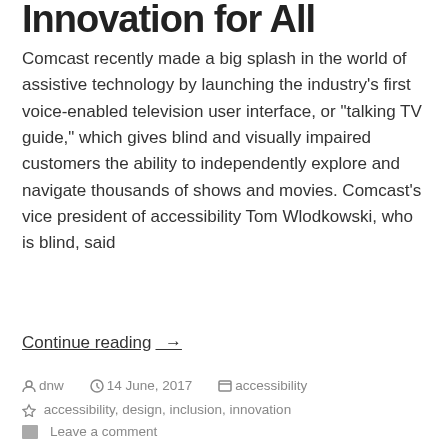Innovation for All
Comcast recently made a big splash in the world of assistive technology by launching the industry's first voice-enabled television user interface, or “talking TV guide,” which gives blind and visually impaired customers the ability to independently explore and navigate thousands of shows and movies. Comcast’s vice president of accessibility Tom Wlodkowski, who is blind, said
Continue reading →
dnw  14 June, 2017  accessibility
accessibility, design, inclusion, innovation
Leave a comment